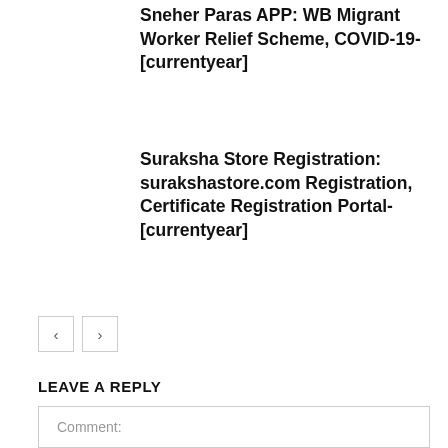Sneher Paras APP: WB Migrant Worker Relief Scheme, COVID-19-[currentyear]
Suraksha Store Registration: surakshastore.com Registration, Certificate Registration Portal-[currentyear]
< >
LEAVE A REPLY
Comment: